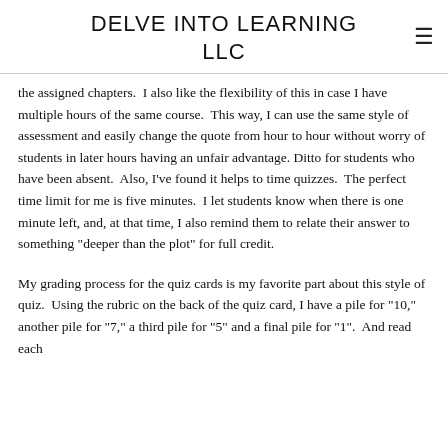DELVE INTO LEARNING LLC
the assigned chapters.  I also like the flexibility of this in case I have multiple hours of the same course.  This way, I can use the same style of assessment and easily change the quote from hour to hour without worry of students in later hours having an unfair advantage.  Ditto for students who have been absent.  Also, I've found it helps to time quizzes.  The perfect time limit for me is five minutes.  I let students know when there is one minute left, and, at that time, I also remind them to relate their answer to something "deeper than the plot" for full credit.
My grading process for the quiz cards is my favorite part about this style of quiz.  Using the rubric on the back of the quiz card, I have a pile for "10," another pile for "7," a third pile for "5" and a final pile for "1".  And read each